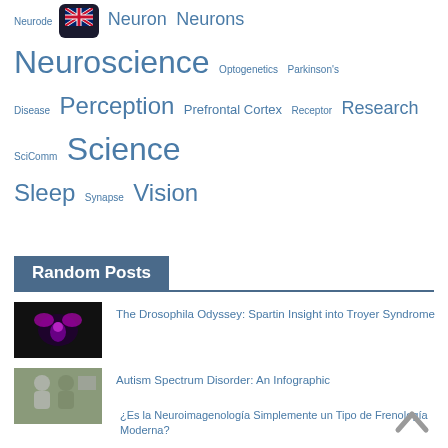Neurode... [flag] Neuron Neurons Neuroscience Optogenetics Parkinson's Disease Perception Prefrontal Cortex Receptor Research SciComm Science Sleep Synapse Vision
Random Posts
The Drosophila Odyssey: Spartin Insight into Troyer Syndrome
Autism Spectrum Disorder: An Infographic
¿Es la Neuroimagenología Simplemente un Tipo de Frenología Moderna?